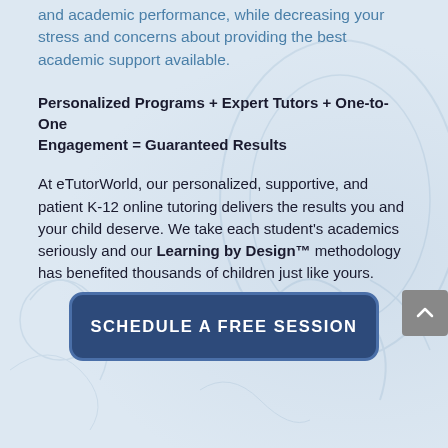and academic performance, while decreasing your stress and concerns about providing the best academic support available.
Personalized Programs + Expert Tutors + One-to-One Engagement = Guaranteed Results
At eTutorWorld, our personalized, supportive, and patient K-12 online tutoring delivers the results you and your child deserve. We take each student's academics seriously and our Learning by Design™ methodology has benefited thousands of children just like yours.
[Figure (other): Call-to-action button: SCHEDULE A FREE SESSION with dark blue rounded rectangle style]